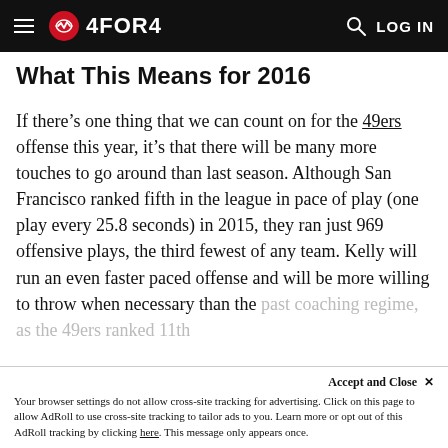4FOR4 | LOG IN
What This Means for 2016
If there’s one thing that we can count on for the 49ers offense this year, it’s that there will be many more touches to go around than last season. Although San Francisco ranked fifth in the league in pace of play (one play every 25.8 seconds) in 2015, they ran just 969 offensive plays, the third fewest of any team. Kelly will run an even faster paced offense and will be more willing to throw when necessary than the past coaching regime, as the 49ers ranked 11th
Accept and Close ×
Your browser settings do not allow cross-site tracking for advertising. Click on this page to allow AdRoll to use cross-site tracking to tailor ads to you. Learn more or opt out of this AdRoll tracking by clicking here. This message only appears once.